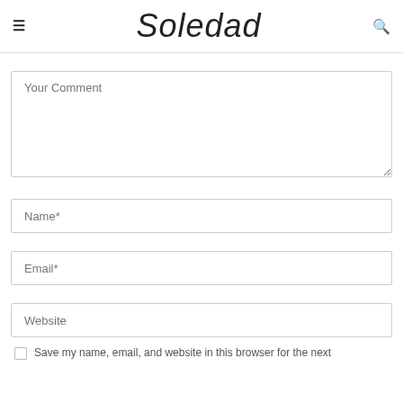Soledad
Your Comment
Name*
Email*
Website
Save my name, email, and website in this browser for the next